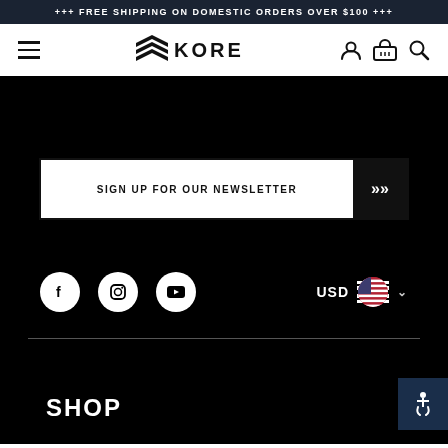+++ FREE SHIPPING ON DOMESTIC ORDERS OVER $100 +++
[Figure (logo): KORE brand logo with chevron/shield icon and text KORE]
SIGN UP FOR OUR NEWSLETTER
[Figure (infographic): Social media icons for Facebook, Instagram, YouTube and USD currency selector with US flag]
SHOP